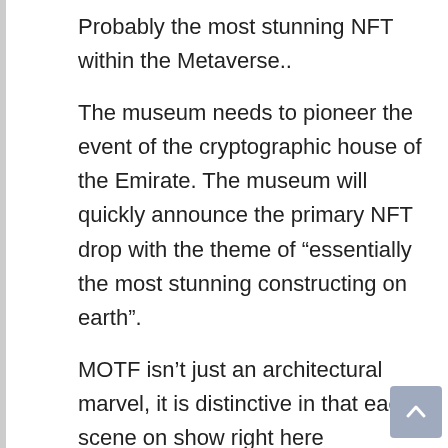Probably the most stunning NFT within the Metaverse..
The museum needs to pioneer the event of the cryptographic house of the Emirate. The museum will quickly announce the primary NFT drop with the theme of “essentially the most stunning constructing on earth”.
MOTF isn’t just an architectural marvel, it is distinctive in that each scene on show right here incorporates new expertise. In line with the museum’s web site, the power is quite a lot of futuristic immersive, “optimistic imaginations” designed to encourage guests to actively form the subsequent chapter of humanity’s future. Internet